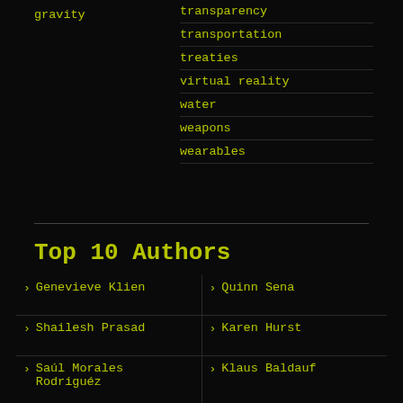gravity
transparency
transportation
treaties
virtual reality
water
weapons
wearables
Top 10 Authors
Genevieve Klien
Quinn Sena
Shailesh Prasad
Karen Hurst
Saúl Morales Rodriguéz
Klaus Baldauf
Shubham Ghosh Roy
Paul Battista
Dan Kummer
Kelvin Dafiaghor